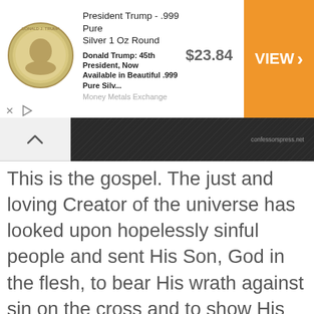[Figure (screenshot): Advertisement banner for President Trump .999 Pure Silver 1 Oz Round coin from Money Metals Exchange, priced at $23.84 with an orange VIEW button]
[Figure (screenshot): Dark navigation bar with a chevron/up-arrow on the left and a URL on the right, textured dark background]
This is the gospel. The just and loving Creator of the universe has looked upon hopelessly sinful people and sent His Son, God in the flesh, to bear His wrath against sin on the cross and to show His power over sin in the resurrection so that all who trust in Him will be reconciled to God forever. — David Platt